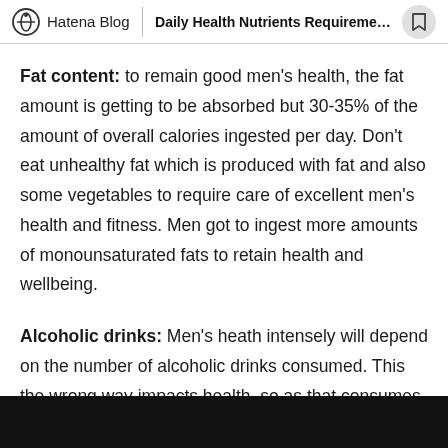Hatena Blog | Daily Health Nutrients Requirement...
Fat content: to remain good men's health, the fat amount is getting to be absorbed but 30-35% of the amount of overall calories ingested per day. Don't eat unhealthy fat which is produced with fat and also some vegetables to require care of excellent men's health and fitness. Men got to ingest more amounts of monounsaturated fats to retain health and wellbeing.
Alcoholic drinks: Men's heath intensely will depend on the number of alcoholic drinks consumed. This the wrong way impacts health, so as that consumes minimal alcohol. Thousands of men everywhere the earth today